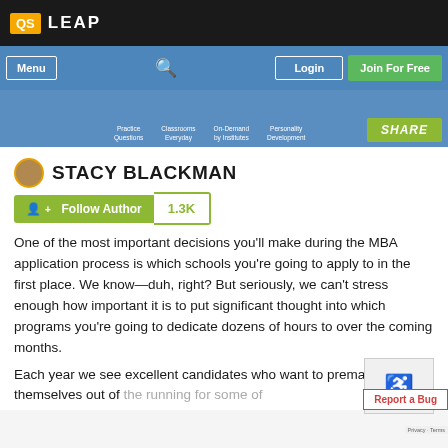QS LEAP
[Figure (screenshot): QS Leap website navigation bar with Menu, search, Login, and Join For Free buttons on a blue background, with sub-navigation items: Practice Questions, Classrooms Everyday, On-Demand by Institutes, Personality Development, and a SHARE button]
STACY BLACKMAN
Follow Author 1.3K
One of the most important decisions you'll make during the MBA application process is which schools you're going to apply to in the first place. We know—duh, right? But seriously, we can't stress enough how important it is to put significant thought into which programs you're going to dedicate dozens of hours to over the coming months.
Each year we see excellent candidates who want to prematurely take themselves out of the running for some of